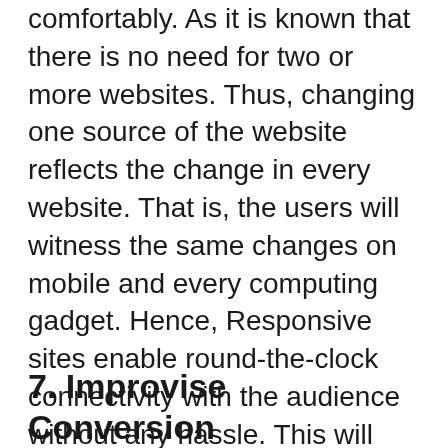comfortably. As it is known that there is no need for two or more websites. Thus, changing one source of the website reflects the change in every website. That is, the users will witness the same changes on mobile and every computing gadget. Hence, Responsive sites enable round-the-clock connectivity with the audience without any hassle. This will also help in evaluating the customers' behavior towards the business.
7. Improvise Conversion